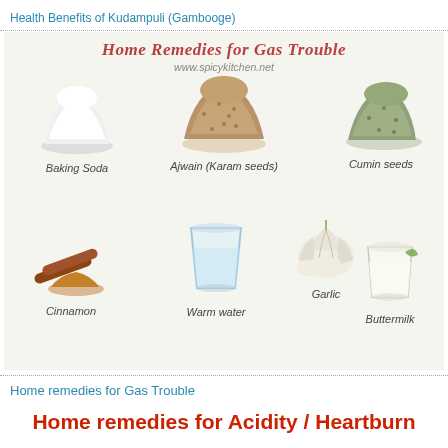Health Benefits of Kudampuli (Gambooge)
[Figure (infographic): Infographic titled 'Home Remedies for Gas Trouble' from www.spicykitchen.net showing 7 items: Baking Soda, Ajwain (Karam seeds), Cumin seeds, Warm water, Garlic, Cinnamon, Buttermilk]
Home remedies for Gas Trouble
Home remedies for Acidity / Heartburn